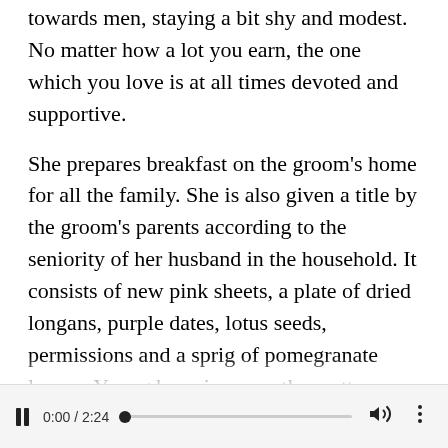towards men, staying a bit shy and modest. No matter how a lot you earn, the one which you love is at all times devoted and supportive.
She prepares breakfast on the groom's home for all the family. She is also given a title by the groom's parents according to the seniority of her husband in the household. It consists of new pink sheets, a plate of dried longans, purple dates, lotus seeds, permissions and a sprig of pomegranate leaves. Young boys jump on the mattress earlier than the marriage
0:00 / 2:24